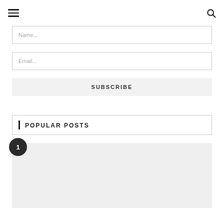Navigation header with hamburger menu and search icon
Name...
Email...
SUBSCRIBE
POPULAR POSTS
1